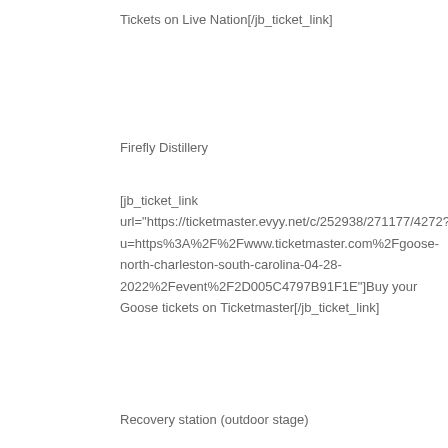Tickets on Live Nation[/jb_ticket_link]
Firefly Distillery
[jb_ticket_link url="https://ticketmaster.evyy.net/c/252938/271177/4272?u=https%3A%2F%2Fwww.ticketmaster.com%2Fgoose-north-charleston-south-carolina-04-28-2022%2Fevent%2F2D005C4797B91F1E"]Buy your Goose tickets on Ticketmaster[/jb_ticket_link]
Recovery station (outdoor stage)